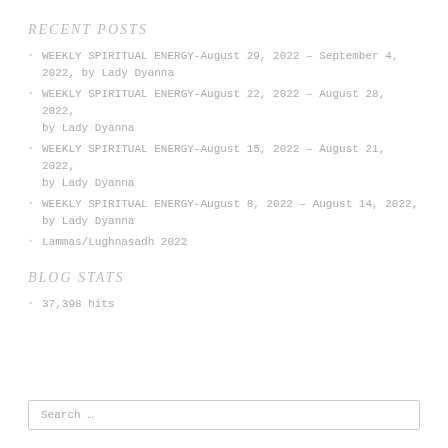RECENT POSTS
WEEKLY SPIRITUAL ENERGY-August 29, 2022 – September 4, 2022, by Lady Dyanna
WEEKLY SPIRITUAL ENERGY-August 22, 2022 – August 28, 2022, by Lady Dyanna
WEEKLY SPIRITUAL ENERGY-August 15, 2022 – August 21, 2022, by Lady Dyanna
WEEKLY SPIRITUAL ENERGY-August 8, 2022 – August 14, 2022, by Lady Dyanna
Lammas/Lughnasadh 2022
BLOG STATS
37,398 hits
Search …